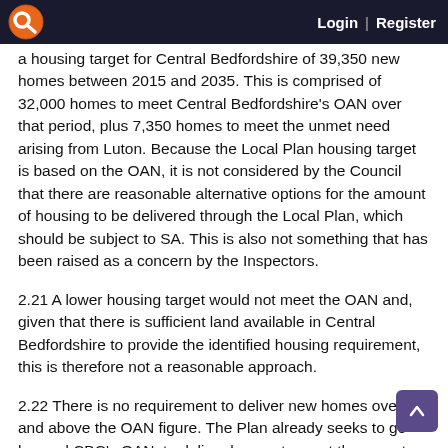Login | Register
a housing target for Central Bedfordshire of 39,350 new homes between 2015 and 2035. This is comprised of 32,000 homes to meet Central Bedfordshire's OAN over that period, plus 7,350 homes to meet the unmet need arising from Luton. Because the Local Plan housing target is based on the OAN, it is not considered by the Council that there are reasonable alternative options for the amount of housing to be delivered through the Local Plan, which should be subject to SA. This is also not something that has been raised as a concern by the Inspectors.
2.21 A lower housing target would not meet the OAN and, given that there is sufficient land available in Central Bedfordshire to provide the identified housing requirement, this is therefore not a reasonable approach.
2.22 There is no requirement to deliver new homes over and above the OAN figure. The Plan already seeks to go beyond CBC's OAN, to deliver homes to meet the unmet needs of Luton Borough. Bearing in mind the Council has also committed to an early partial review, meaning that the housing target will be reviewed again in the near future, the Council believes it is appropriate to plan to meet the identified